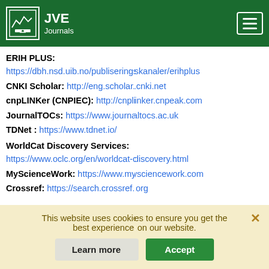JVE Journals
ERIH PLUS: https://dbh.nsd.uib.no/publiseringskanaler/erihplus
CNKI Scholar: http://eng.scholar.cnki.net
cnpLINKer (CNPIEC): http://cnplinker.cnpeak.com
JournalTOCs: https://www.journaltocs.ac.uk
TDNet : https://www.tdnet.io/
WorldCat Discovery Services: https://www.oclc.org/en/worldcat-discovery.html
MyScienceWork: https://www.mysciencework.com
Crossref: https://search.crossref.org
Publication dates
This website uses cookies to ensure you get the best experience on our website.